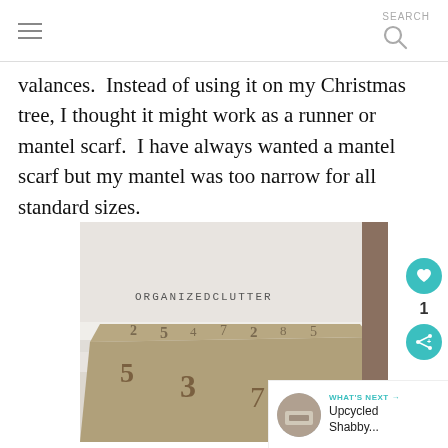SEARCH
valances.  Instead of using it on my Christmas tree, I thought it might work as a runner or mantel scarf.  I have always wanted a mantel scarf but my mantel was too narrow for all standard sizes.
[Figure (photo): Photo of a burlap runner or mantel scarf with numbers printed on it, draped over a narrow white mantel. Watermark reads ORGANIZEDCLUTTER.]
WHAT'S NEXT → Upcycled Shabby...